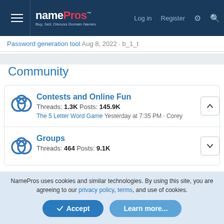namePros™ — Buy, Sell, Discuss Domain Names — Log in | Register
Password generation tool Aug 8, 2022 · b_1_t
Community
Contests and Online Fun — Threads: 1.3K Posts: 145.9K — The 5 Letter Word Game Yesterday at 7:35 PM · Corey
Groups — Threads: 464 Posts: 9.1K
NamePros uses cookies and similar technologies. By using this site, you are agreeing to our privacy policy, terms, and use of cookies.